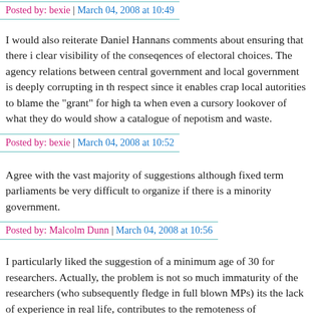Posted by: bexie | March 04, 2008 at 10:49
I would also reiterate Daniel Hannans comments about ensuring that there is clear visibility of the conseqences of electoral choices. The agency relationships between central government and local government is deeply corrupting in this respect since it enables crap local autorities to blame the "grant" for high tax when even a cursory lookover of what they do would show a catalogue of nepotism and waste.
Posted by: bexie | March 04, 2008 at 10:52
Agree with the vast majority of suggestions although fixed term parliaments would be very difficult to organize if there is a minority government.
Posted by: Malcolm Dunn | March 04, 2008 at 10:56
I particularly liked the suggestion of a minimum age of 30 for researchers. Actually, the problem is not so much immaturity of the researchers (who subsequently fledge in full blown MPs) its the lack of experience in real life, contributes to the remoteness of "Westminster Village" from the rest of the country. I would suggest a minimum of ten years working in the private sector, least five of them as an employee, before being electable. I should however dir